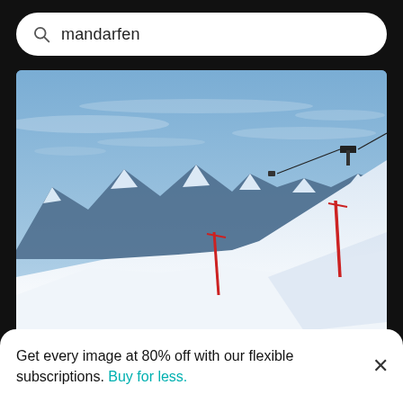mandarfen
[Figure (photo): Scenic view of snowcapped mountains against a blue sky, with ski lift poles and a cable car visible on the snow-covered slopes]
Scenic view of snowcapped mountains against sky
[Figure (photo): Partial view of another mountain image at the bottom]
Get every image at 80% off with our flexible subscriptions. Buy for less.